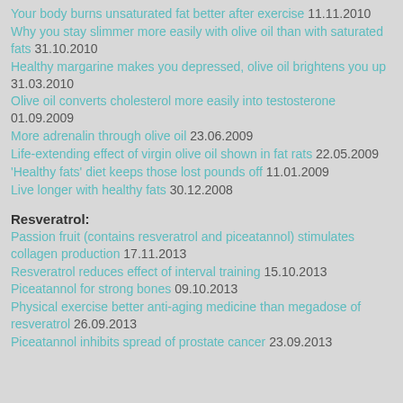Your body burns unsaturated fat better after exercise 11.11.2010
Why you stay slimmer more easily with olive oil than with saturated fats 31.10.2010
Healthy margarine makes you depressed, olive oil brightens you up 31.03.2010
Olive oil converts cholesterol more easily into testosterone 01.09.2009
More adrenalin through olive oil 23.06.2009
Life-extending effect of virgin olive oil shown in fat rats 22.05.2009
'Healthy fats' diet keeps those lost pounds off 11.01.2009
Live longer with healthy fats 30.12.2008
Resveratrol:
Passion fruit (contains resveratrol and piceatannol) stimulates collagen production 17.11.2013
Resveratrol reduces effect of interval training 15.10.2013
Piceatannol for strong bones 09.10.2013
Physical exercise better anti-aging medicine than megadose of resveratrol 26.09.2013
Piceatannol inhibits spread of prostate cancer 23.09.2013